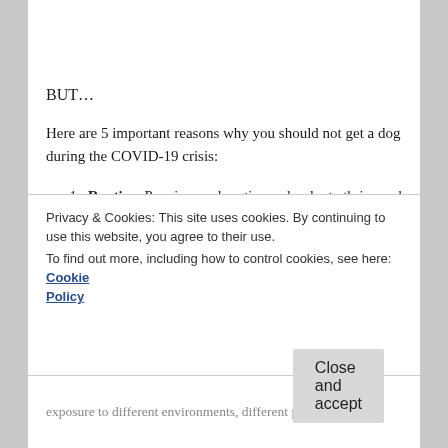BUT…
Here are 5 important reasons why you should not get a dog during the COVID-19 crisis:
1. Routine. Puppies need routine and order to thrive and right now our lives are far from normal. We aren't working our normal hours, kids are home and not in school, people are stressed and to bring a dog into that environment, in my opinion is selfish and unfair.
2. Socialization. You cannot socialize your puppy at
Privacy & Cookies: This site uses cookies. By continuing to use this website, you agree to their use. To find out more, including how to control cookies, see here: Cookie Policy
exposure to different environments, different people